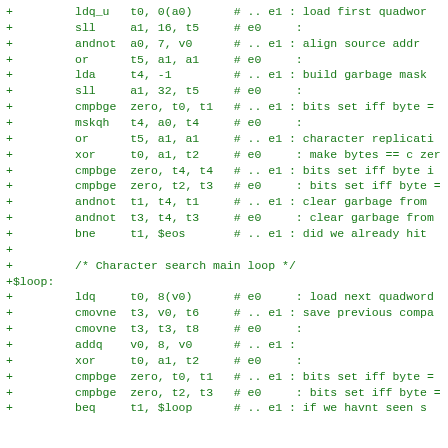Assembly code listing showing character search loop implementation with Alpha AXP instructions including ldq, sll, andnot, or, lda, cmpbge, mskqh, xor, bne, cmovne, addq instructions with comments.